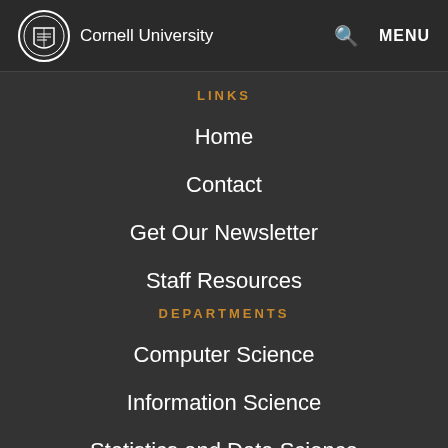Cornell University — MENU
LINKS
Home
Contact
Get Our Newsletter
Staff Resources
DEPARTMENTS
Computer Science
Information Science
Statistics and Data Science
SOCIAL
Facebook
LinkedIn (partial)